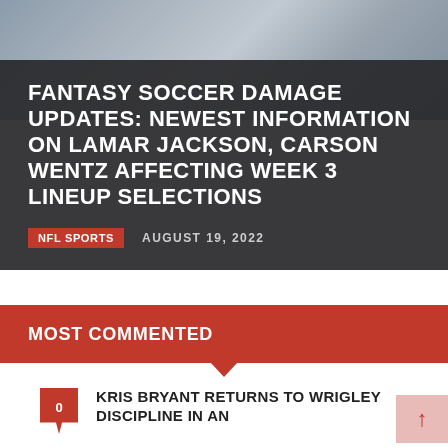[Figure (photo): Sports photo background showing football players/helmets in grayscale]
FANTASY SOCCER DAMAGE UPDATES: NEWEST INFORMATION ON LAMAR JACKSON, CARSON WENTZ AFFECTING WEEK 3 LINEUP SELECTIONS
NFL SPORTS   AUGUST 19, 2022
MOST COMMENTED
0  KRIS BRYANT RETURNS TO WRIGLEY DISCIPLINE IN AN